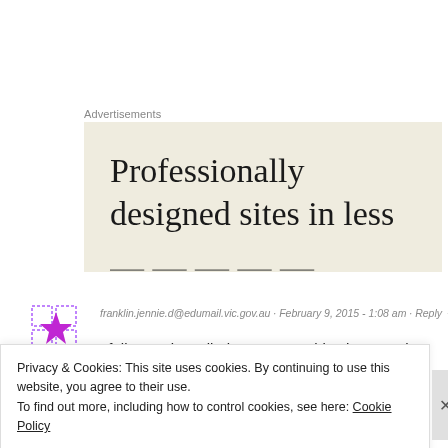Advertisements
[Figure (other): Advertisement banner with beige background showing text: 'Professionally designed sites in less']
franklin.jennie.d@edumail.vic.gov.au · February 9, 2015 - 1:08 am · Reply →
I follow a site called Zonearts – this photographer uses software to create collages. The repetition of pattern
Privacy & Cookies: This site uses cookies. By continuing to use this website, you agree to their use.
To find out more, including how to control cookies, see here: Cookie Policy
Close and accept